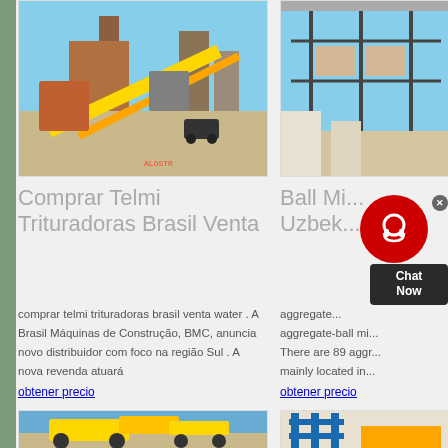[Figure (photo): Industrial mining/crushing plant with yellow conveyor belts and machinery at a construction site]
[Figure (photo): Construction site with building structure and materials]
Comprar Telmi Trituradoras Brasil Venta
Ball Mi... Uzbek...
comprar telmi trituradoras brasil venta water . A Brasil Máquinas de Construção, BMC, anuncia novo distribuidor com foco na região Sul . A nova revenda atuará
aggregate... aggregate-ball mi... There are 89 aggr... mainly located in...
obtener precio
obtener precio
[Figure (photo): Large yellow mining/crushing equipment on a flat open area with blue sky]
[Figure (photo): Blue industrial machinery or equipment]